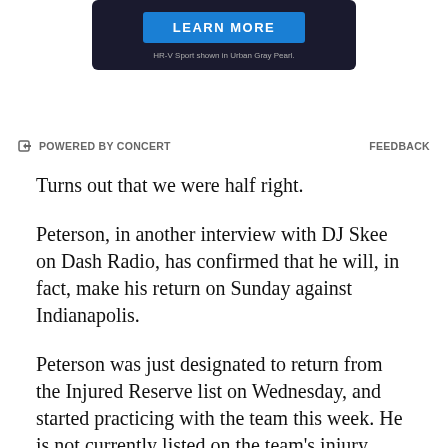[Figure (screenshot): Advertisement banner with dark background showing a LEARN MORE button and caption 'HR-V Sport shown in Urban Gray Pearl.']
POWERED BY CONCERT    FEEDBACK
Turns out that we were half right.
Peterson, in another interview with DJ Skee on Dash Radio, has confirmed that he will, in fact, make his return on Sunday against Indianapolis.
Peterson was just designated to return from the Injured Reserve list on Wednesday, and started practicing with the team this week. He is not currently listed on the team's injury report (which we'll bring to you as soon as the Colts release their final report), as the team has not formally activated him yet. They will have to make a roster move in order to add Peterson to the 53-man roster.